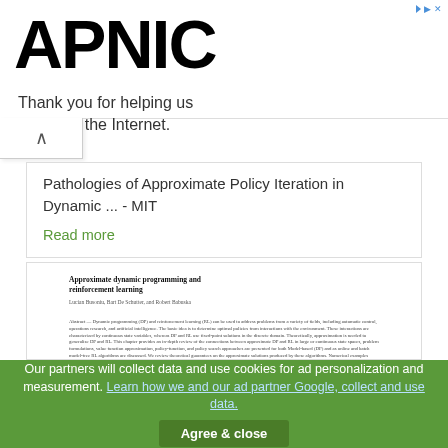APNIC - Thank you for helping us measure the Internet.
Pathologies of Approximate Policy Iteration in Dynamic ... - MIT
Read more
[Figure (screenshot): Preview of academic paper titled 'Approximate dynamic programming and reinforcement learning' by Lucian Busoniu, Bart De Schutter, and Robert Babuska. Shows title, authors, and beginning of abstract discussing dynamic programming (DP) and reinforcement learning (RL).]
Our partners will collect data and use cookies for ad personalization and measurement. Learn how we and our ad partner Google, collect and use data.